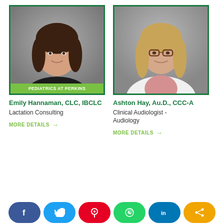[Figure (photo): Professional headshot of Emily Hannaman with green border and 'PEDIATRICS AT PERKINS' label bar at bottom]
Emily Hannaman, CLC, IBCLC
Lactation Consulting
MORE DETAILS →
[Figure (photo): Professional headshot of Ashton Hay in white lab coat with glasses and green border]
Ashton Hay, Au.D., CCC-A
Clinical Audiologist - Audiology
MORE DETAILS →
[Figure (infographic): Social share buttons: Facebook (blue), Twitter (light blue), Pinterest (red), WhatsApp (green), LinkedIn (dark blue), Share (orange)]